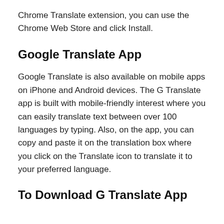Chrome Translate extension, you can use the Chrome Web Store and click Install.
Google Translate App
Google Translate is also available on mobile apps on iPhone and Android devices. The G Translate app is built with mobile-friendly interest where you can easily translate text between over 100 languages by typing. Also, on the app, you can copy and paste it on the translation box where you click on the Translate icon to translate it to your preferred language.
To Download G Translate App